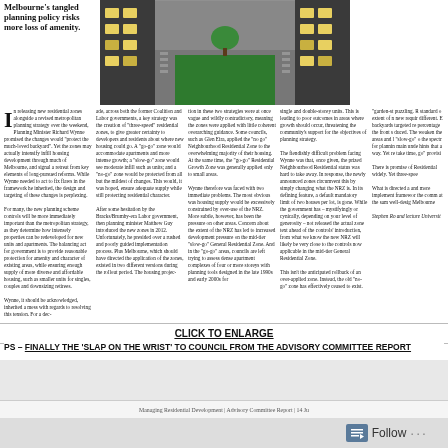Melbourne's tangled planning policy risks more loss of amenity.
[Figure (illustration): Illustrated aerial/perspective view of Melbourne residential buildings and street with trees, showing apartment blocks and green courtyard area]
In releasing new residential zones alongside a revised metropolitan planning strategy over the weekend, Planning Minister Richard Wynne promised the changes would 'protect the much-loved backyard'. Yet the zones may actually intensify infill housing development through much of Melbourne, and signal a retreat from key elements of long-pursued reforms. While Wynne needed to act to fix flaws in the framework he inherited, the design and targeting of these changes is perplexing. For many, the new planning scheme controls will be more immediately important than the metropolitan strategy, as they determine how intensely properties can be redeveloped for new units and apartments. The balancing act for government is to provide reasonable protection for amenity and character of existing areas, while ensuring enough supply of more diverse and affordable housing, such as smaller units for singles, couples and downsizing retirees. Wynne, it should be acknowledged, inherited a mess with regards to resolving this tension. For a dec-
ade, across both the former Coalition and Labor governments, a key strategy was the creation of 'three-speed' residential zones, to give greater certainty to developers and residents about where new housing could go. A 'go-go' zone would accommodate apartments and more intense growth; a 'slow-go' zone would see moderate infill such as units; and a 'no-go' zone would be protected from all but the mildest of changes. This would, it was hoped, ensure adequate supply while still protecting residential character. After some hesitation by the Bracks/Brumby-era Labor government, then planning minister Matthew Guy introduced the new zones in 2012. Unfortunately, he presided over a rushed and poorly guided implementation process. Plus Melbourne, which should have directed the application of the zones, existed in two different versions during the rollout period. The housing projec-
tion in these two strategies were at once vague and wildly contradictory, meaning the zones were applied with little coherent overarching guidance. Some councils, such as Glen Eira, applied the 'no go' Neighbourhood Residential Zone to the overwhelming majority of their housing. At the same time, the 'go-go' Residential Growth Zone was generally applied only to small areas. Wynne therefore was faced with two immediate problems. The most obvious was housing supply would be excessively constrained by over-use of the NRZ. More subtle, however, has been the pressure on other areas. Concern about the extent of the NRZ has led to increased development pressure on the mid-tier 'slow-go' General Residential Zone. And in the 'go-go' areas, councils are left trying to assess dense apartment complexes of four or more storeys with planning tools designed in the late 1990s and early 2000s for
single and double-storey units. This is leading to poor outcomes in areas where growth should occur, threatening the community's support for the objectives of planning strategy. The fiendishly difficult problem facing Wynne was that, once given, the prized Neighbourhood Residential status was hard to take away. In response, the newly announced zones circumvent this by simply changing what the NRZ is. In its defining feature, a default mandatory limit of two houses per lot, is gone. While the government has – mystifyingly or cynically, depending on your level of generosity – not released the actual zone text ahead of the controls' introduction, from what we know the new NRZ will likely be very close to the controls now applicable in the mid-tier General Residential Zone. This isn't the anticipated rollback of an over-applied zone. Instead, the old 'no-go' zone has effectively ceased to exist.
garden-st puzzling. R standard o extent of n new requir different. E backyards targeted re percentage the front s duced. The weaken the areas and l 'slow-go' o the spectr for plannin main unde hints that a way. Yet re take time, go' provisi There is promise of Residential widely. Yet three-spee What is directed a and more implement framewor the comm at the sam well-desig Melbourne Stephen Ro and lecture Universit
CLICK TO ENLARGE
PS – FINALLY THE 'SLAP ON THE WRIST' TO COUNCIL FROM THE ADVISORY COMMITTEE REPORT
Managing Residential Development | Advisory Committee Report | 14 Ju